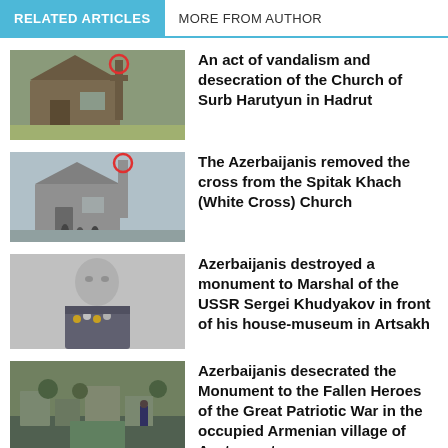RELATED ARTICLES | MORE FROM AUTHOR
[Figure (photo): Stone church building with red circle marking a cross or figure at top]
An act of vandalism and desecration of the Church of Surb Harutyun in Hadrut
[Figure (photo): Stone church with red circle near tower/cross area, people walking in front]
The Azerbaijanis removed the cross from the Spitak Khach (White Cross) Church
[Figure (photo): Black and white portrait photo of a Soviet military marshal in uniform with medals]
Azerbaijanis destroyed a monument to Marshal of the USSR Sergei Khudyakov in front of his house-museum in Artsakh
[Figure (photo): Outdoor scene of a village or town with buildings and trees, monument area]
Azerbaijanis desecrated the Monument to the Fallen Heroes of the Great Patriotic War in the occupied Armenian village of Ayetaranots